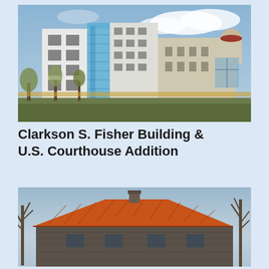[Figure (photo): Exterior photograph of a large modern multi-story white federal building complex with blue glass accents and beige stone wings, surrounded by trees, taken from street level.]
Clarkson S. Fisher Building & U.S. Courthouse Addition
[Figure (photo): Exterior photograph of a historic stone building with a prominent red/orange terracotta tile roof, dark stone facade, and bare trees in the foreground.]